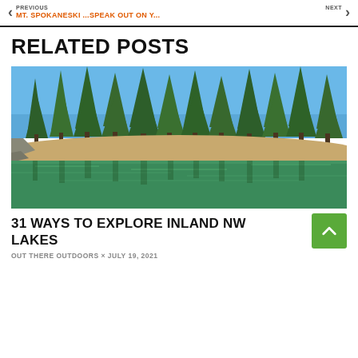PREVIOUS | MT. SPOKANESKI ...SPEAK OUT ON Y... | NEXT
RELATED POSTS
[Figure (photo): Lakeside scene with tall green pine trees along a sandy beach, reflected in clear green-tinted lake water under a blue sky.]
31 WAYS TO EXPLORE INLAND NW LAKES
OUT THERE OUTDOORS × JULY 19, 2021